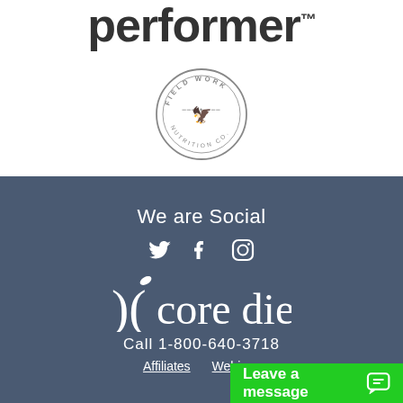[Figure (logo): performer. brand logo text in large bold dark font with trademark symbol]
[Figure (logo): Field Work Nutrition Co. circular badge logo in grey]
We are Social
[Figure (illustration): Twitter, Facebook, and Instagram social media icons in white]
[Figure (logo): core diet logo with leaf/crescent symbol in white]
Call 1-800-640-3718
Affiliates  Webinars  Leave a message
[Figure (other): Green Leave a message chat button with chat icon]